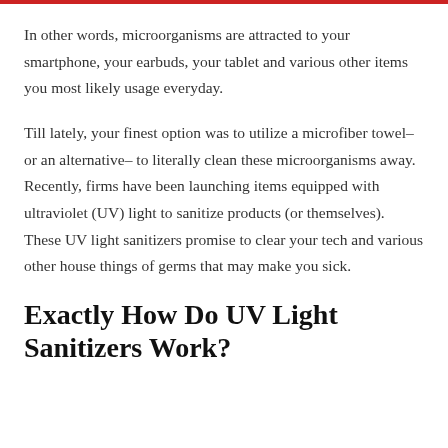In other words, microorganisms are attracted to your smartphone, your earbuds, your tablet and various other items you most likely usage everyday.
Till lately, your finest option was to utilize a microfiber towel– or an alternative– to literally clean these microorganisms away. Recently, firms have been launching items equipped with ultraviolet (UV) light to sanitize products (or themselves). These UV light sanitizers promise to clear your tech and various other house things of germs that may make you sick.
Exactly How Do UV Light Sanitizers Work?